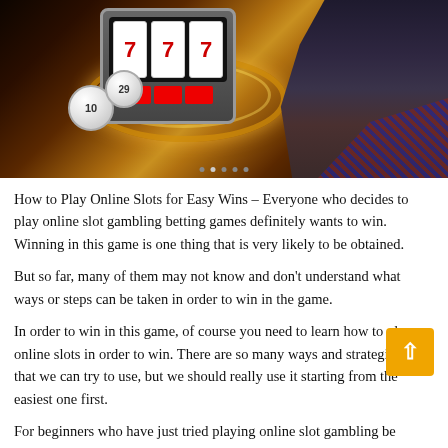[Figure (photo): Casino slot machine banner image with spinning reels showing 7s, a glowing golden ring, poker chips, and a woman in a plaid skirt on a dark golden background]
How to Play Online Slots for Easy Wins – Everyone who decides to play online slot gambling betting games definitely wants to win. Winning in this game is one thing that is very likely to be obtained.
But so far, many of them may not know and don't understand what ways or steps can be taken in order to win in the game.
In order to win in this game, of course you need to learn how to play online slots in order to win. There are so many ways and strategic steps that we can try to use, but we should really use it starting from the easiest one first.
For beginners who have just tried playing online slot gambling betting games on cq9, of course many of them are still confused. Many of them are confused and don't know how they can do it so they can win in the slot